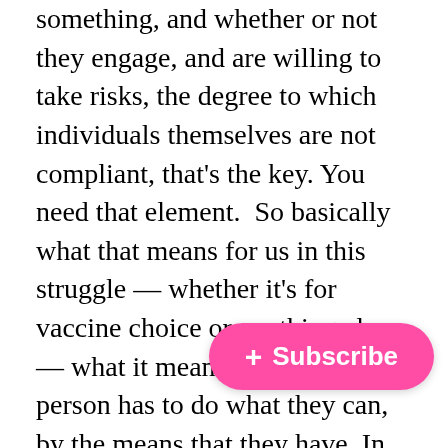something, and whether or not they engage, and are willing to take risks, the degree to which individuals themselves are not compliant, that's the key. You need that element.  So basically what that means for us in this struggle — whether it's for vaccine choice or anything else — what it means is that each person has to do what they can, by the means that they have. In other words there's no silver bullet. No perfect or good organiser is going to solve everything. No whistle-blowing scientist is going to solve everything. No new politician that starts a movement by himself or herself is going to change anything. You need more than that. These people are just part of that network, but in that network you need to have individuals that are dedicated to pushing back. So all of [us need to push] back however we can, using our abi[lities. We need] to trust our knowledge, we have to keep learning, and
[Figure (other): Pink rounded pill-shaped Subscribe button with a '+' icon and white text reading '+ Subscribe']